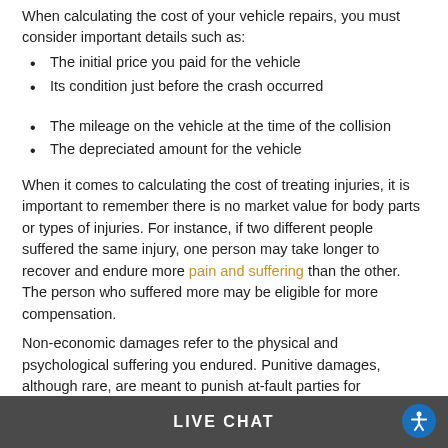When calculating the cost of your vehicle repairs, you must consider important details such as:
The initial price you paid for the vehicle
Its condition just before the crash occurred
The mileage on the vehicle at the time of the collision
The depreciated amount for the vehicle
When it comes to calculating the cost of treating injuries, it is important to remember there is no market value for body parts or types of injuries. For instance, if two different people suffered the same injury, one person may take longer to recover and endure more pain and suffering than the other. The person who suffered more may be eligible for more compensation.
Non-economic damages refer to the physical and psychological suffering you endured. Punitive damages, although rare, are meant to punish at-fault parties for egregious or intentional behavior.
LIVE CHAT